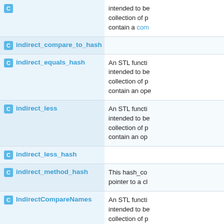| Name | Description |
| --- | --- |
| [C] indirect_compare_to_hash | intended to be collection of p contain a com |
| [C] indirect_equals_hash | An STL functi intended to be collection of p contain an ope |
| [C] indirect_less | An STL functi intended to be collection of p contain an op |
| [C] indirect_less_hash |  |
| [C] indirect_method_hash | This hash_co pointer to a cl |
| [C] IndirectCompareNames | An STL functi intended to be collection of p define a get_n for things tha |
| [C] IndirectCompareSort | An STL functi intended to be collection of p define a get_s |
| [C] IndirectCompareTo | An STL functi intended to b |